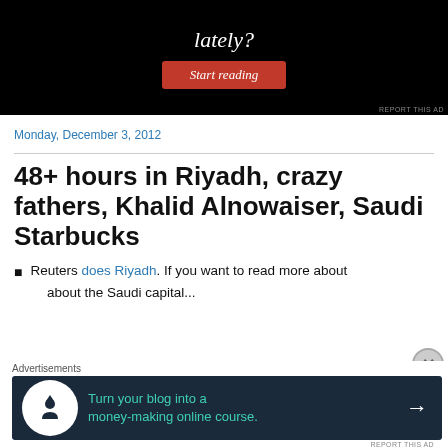[Figure (screenshot): Black advertisement banner with 'lately?' text in italic white serif font and a red 'Start reading' button. 'REPORT THIS AD' text in small gray letters at bottom right.]
Monday, December 3, 2012
48+ hours in Riyadh, crazy fathers, Khalid Alnowaiser, Saudi Starbucks
Reuters does Riyadh. If you want to read more about
...about the Saudi capital...
[Figure (screenshot): Dark navy advertisement banner with Teachable logo icon (white circle with figure and upward arrow), teal text reading 'Turn your blog into a money-making online course.' and a white right arrow. 'Advertisements' label above. 'REPORT THIS AD' below.]